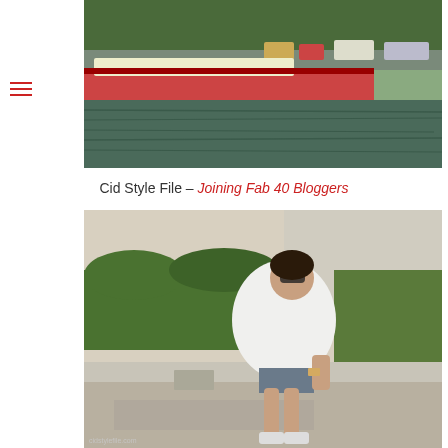[Figure (photo): A boat/barge on a river (likely the Seine in Paris), with trees, parked cars and a road visible in the background. The photo is cropped showing mostly the water, the vessel, and the background scenery.]
Cid Style File – Joining Fab 40 Bloggers
[Figure (photo): A plus-size woman wearing sunglasses, a white linen shirt, denim shorts, and sneakers, sitting on a concrete ledge in an outdoor urban setting with trimmed hedges and tall grasses behind her. A watermark reading 'cidstylefile.com' appears at the bottom left.]